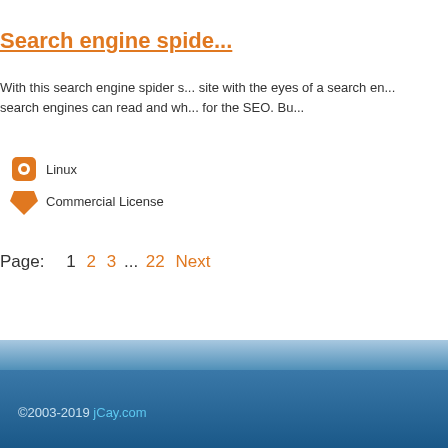Search engine spide...
With this search engine spider s... site with the eyes of a search en... search engines can read and wh... for the SEO. Bu...
Linux
Commercial License
Page: 1  2  3  ...  22  Next
©2003-2019 jCay.com